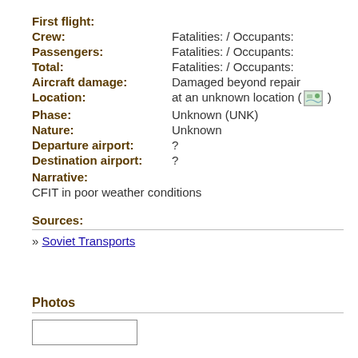First flight:
Crew: Fatalities: / Occupants:
Passengers: Fatalities: / Occupants:
Total: Fatalities: / Occupants:
Aircraft damage: Damaged beyond repair
Location: at an unknown location ( [map icon] )
Phase: Unknown (UNK)
Nature: Unknown
Departure airport: ?
Destination airport:?
Narrative:
CFIT in poor weather conditions
Sources:
» Soviet Transports
Photos